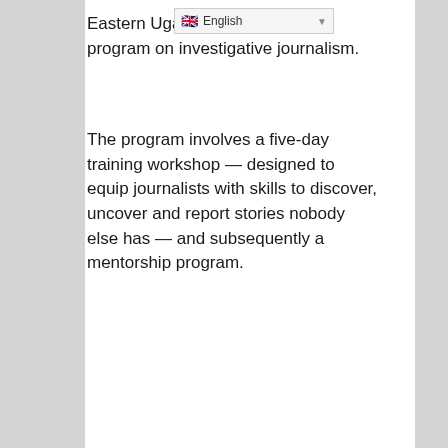Eastern Uganda for a fellowship program on investigative journalism.
The program involves a five-day training workshop — designed to equip journalists with skills to discover, uncover and report stories nobody else has — and subsequently a mentorship program.